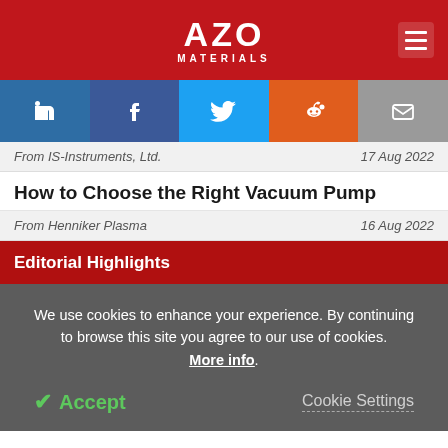AZO MATERIALS
[Figure (infographic): Social media share buttons: LinkedIn, Facebook, Twitter, Reddit, Email]
From IS-Instruments, Ltd.   17 Aug 2022
How to Choose the Right Vacuum Pump
From Henniker Plasma   16 Aug 2022
Editorial Highlights
We use cookies to enhance your experience. By continuing to browse this site you agree to our use of cookies. More info.
Accept   Cookie Settings